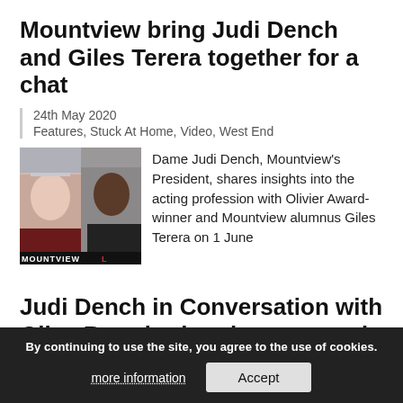Mountview bring Judi Dench and Giles Terera together for a chat
24th May 2020
Features, Stuck At Home, Video, West End
[Figure (photo): Side-by-side photos of Dame Judi Dench and Giles Terera with MOUNTVIEW L text overlay at bottom]
Dame Judi Dench, Mountview's President, shares insights into the acting profession with Olivier Award-winner and Mountview alumnus Giles Terera on 1 June
Judi Dench in Conversation with Giles Brandreth to be streamed online
20th April 2020 · on West End, Stuck At Home
[Figure (photo): Partial photo of Dame Judi Dench]
Dame Judi Dench in conversation,
By continuing to use the site, you agree to the use of cookies.